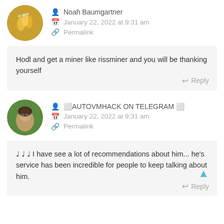Noah Baumgartner
January 22, 2022 at 9:31 am
Permalink
Hodl and get a miner like rissminer and you will be thanking yourself
↺ AUTOVMHACK ON TELEGRAM ↺
January 22, 2022 at 9:31 am
Permalink
♩ ♩ ♩ I have see a lot of recommendations about him... he's service has been incredible for people to keep talking about him.